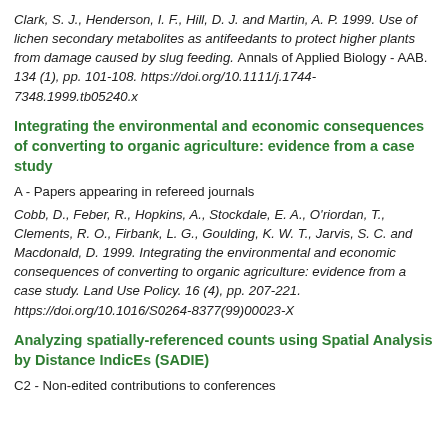Clark, S. J., Henderson, I. F., Hill, D. J. and Martin, A. P. 1999. Use of lichen secondary metabolites as antifeedants to protect higher plants from damage caused by slug feeding. Annals of Applied Biology - AAB. 134 (1), pp. 101-108. https://doi.org/10.1111/j.1744-7348.1999.tb05240.x
Integrating the environmental and economic consequences of converting to organic agriculture: evidence from a case study
A - Papers appearing in refereed journals
Cobb, D., Feber, R., Hopkins, A., Stockdale, E. A., O'riordan, T., Clements, R. O., Firbank, L. G., Goulding, K. W. T., Jarvis, S. C. and Macdonald, D. 1999. Integrating the environmental and economic consequences of converting to organic agriculture: evidence from a case study. Land Use Policy. 16 (4), pp. 207-221. https://doi.org/10.1016/S0264-8377(99)00023-X
Analyzing spatially-referenced counts using Spatial Analysis by Distance IndicEs (SADIE)
C2 - Non-edited contributions to conferences